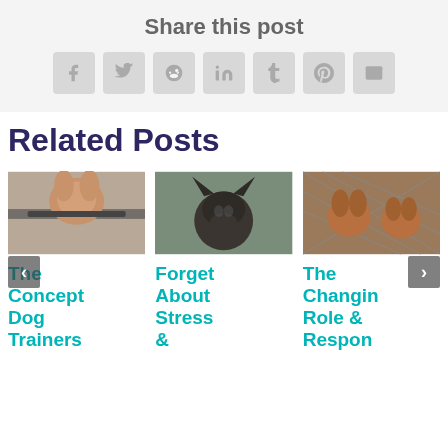Share this post
[Figure (infographic): Social share icons: Facebook, Twitter, Reddit, LinkedIn, Tumblr, Pinterest, Email]
Related Posts
[Figure (photo): Golden/cocker spaniel dog peering over a fence]
The Concept Dog Trainers
[Figure (photo): Dark-colored dog with large ears facing camera]
Forget About Stress &
[Figure (photo): Two cocker spaniels behind a chain-link fence]
The Changing Role & Respon